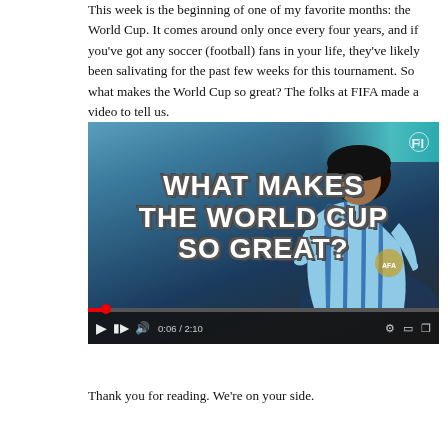This week is the beginning of one of my favorite months: the World Cup. It comes around only once every four years, and if you've got any soccer (football) fans in your life, they've likely been salivating for the past few weeks for this tournament. So what makes the World Cup so great? The folks at FIFA made a video to tell us.
[Figure (screenshot): Embedded YouTube video thumbnail showing a soccer player wearing an Argentina jersey with white and blue stripes, with bold white text overlay reading 'WHAT MAKES THE WORLD CUP SO GREAT?' and video controls showing 0:06 / 2:10]
Thank you for reading. We're on your side.